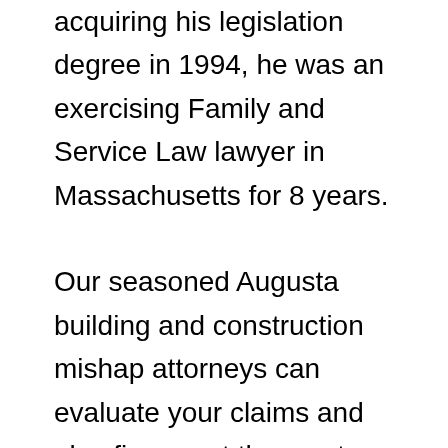acquiring his legislation degree in 1994, he was an exercising Family and Service Law lawyer in Massachusetts for 8 years. Our seasoned Augusta building and construction mishap attorneys can evaluate your claims and also figure out the most effective course onward. If you are harmed in a slip-and-fall on a company property, you are most likely managing a big insurance company. The insurance company is not motivated to